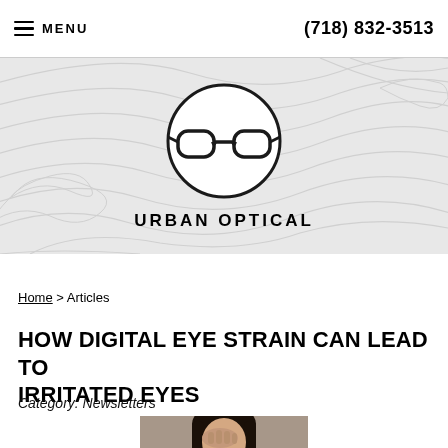MENU   (718) 832-3513
[Figure (logo): Urban Optical logo: eyeglasses icon inside a circle, with topographic map pattern background. Brand name 'URBAN OPTICAL' below.]
Home > Articles
HOW DIGITAL EYE STRAIN CAN LEAD TO IRRITATED EYES
Category: Newsletters
[Figure (photo): Woman rubbing her eyes, appearing to have eye strain or pain.]